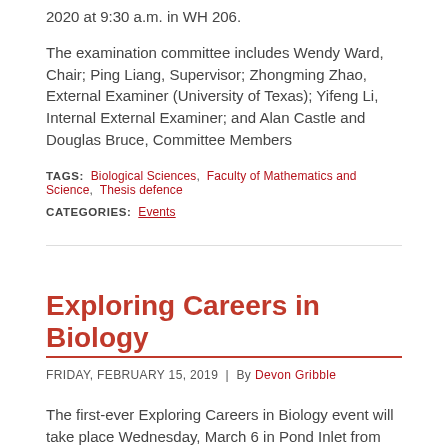2020 at 9:30 a.m. in WH 206.
The examination committee includes Wendy Ward, Chair; Ping Liang, Supervisor; Zhongming Zhao, External Examiner (University of Texas); Yifeng Li, Internal External Examiner; and Alan Castle and Douglas Bruce, Committee Members
TAGS: Biological Sciences, Faculty of Mathematics and Science, Thesis defence
CATEGORIES: Events
Exploring Careers in Biology
FRIDAY, FEBRUARY 15, 2019 | By Devon Gribble
The first-ever Exploring Careers in Biology event will take place Wednesday, March 6 in Pond Inlet from 5:30 to 7:30 p.m.
Students will engage with industry professionals at this round